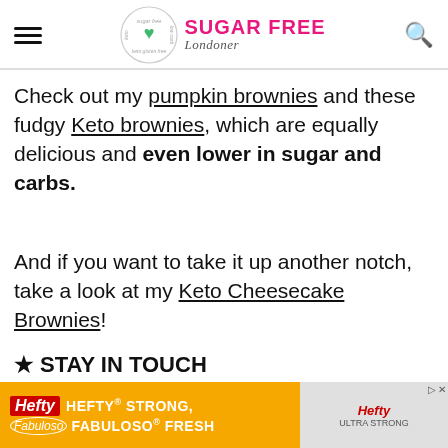Sugar Free Londoner — navigation header
Check out my pumpkin brownies and these fudgy Keto brownies, which are equally delicious and even lower in sugar and carbs.
And if you want to take it up another notch, take a look at my Keto Cheesecake Brownies!
★ STAY IN TOUCH
on FACEBOOK, PINTEREST and INSTAGRAM for more great food and join my NEWSLETTER for the latest updates
[Figure (screenshot): Hefty / Fabuloso advertisement banner at bottom of page]